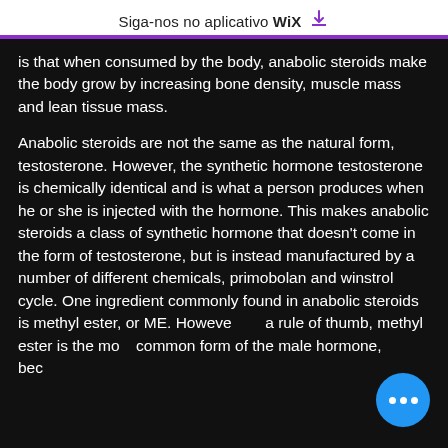Siga-nos no aplicativo Wix ⬇
is that when consumed by the body, anabolic steroids make the body grow by increasing bone density, muscle mass and lean tissue mass.
Anabolic steroids are not the same as the natural form, testosterone. However, the synthetic hormone testosterone is chemically identical and is what a person produces when he or she is injected with the hormone. This makes anabolic steroids a class of synthetic hormone that doesn't come in the form of testosterone, but is instead manufactured by a number of different chemicals, primobolan and winstrol cycle. One ingredient commonly found in anabolic steroids is methyl ester, or ME. However, as a rule of thumb, methyl ester is the most common form of the male hormone, because it is the most familiar testosterone hormone...